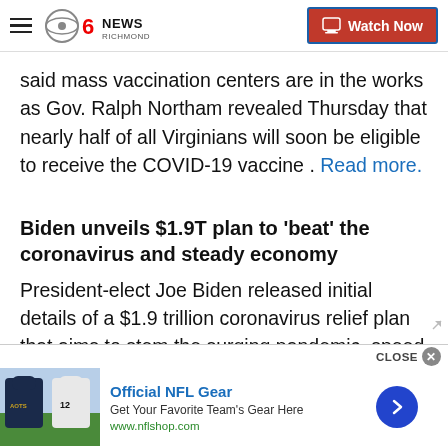CBS 6 News Richmond — Watch Now
said mass vaccination centers are in the works as Gov. Ralph Northam revealed Thursday that nearly half of all Virginians will soon be eligible to receive the COVID-19 vaccine .Read more.
Biden unveils $1.9T plan to 'beat' the coronavirus and steady economy
President-elect Joe Biden released initial details of a $1.9 trillion coronavirus relief plan that aims to stem the surging pandemic, speed up vaccinations and
Official NFL Gear
Get Your Favorite Team's Gear Here
www.nflshop.com